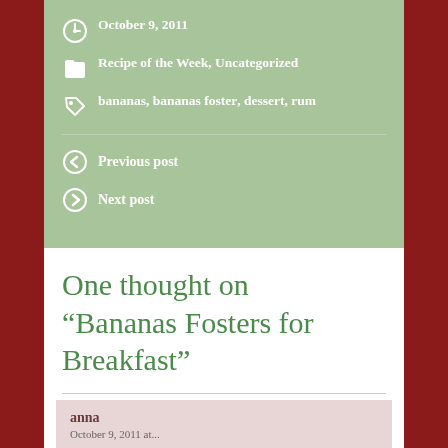October 9, 2011
Recipe of the Week, Uncategorized
bananas, bananas foster, dessert, rum
Previous post
Next post
One thought on “Bananas Fosters for Breakfast”
anna